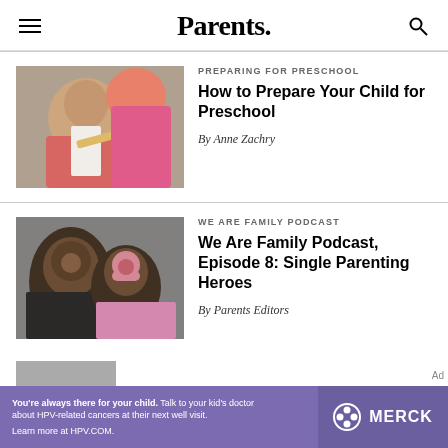Parents.
PREPARING FOR PRESCHOOL
How to Prepare Your Child for Preschool
By Anne Zachry
[Figure (photo): Child writing with pencil, close-up of young girl doing homework]
WE ARE FAMILY PODCAST
We Are Family Podcast, Episode 8: Single Parenting Heroes
By Parents Editors
[Figure (photo): A smiling woman with child in pink hat, selfie style photo]
You're always there for your child. Talk to your kid's doctor about HPV-related cancers at their next well visit. Learn more at HPV.COM.